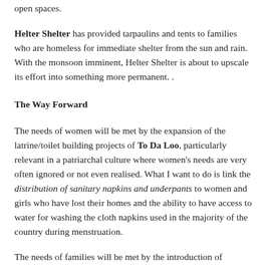open spaces.
Helter Shelter has provided tarpaulins and tents to families who are homeless for immediate shelter from the sun and rain. With the monsoon imminent, Helter Shelter is about to upscale its effort into something more permanent. .
The Way Forward
The needs of women will be met by the expansion of the latrine/toilet building projects of To Da Loo, particularly relevant in a patriarchal culture where women's needs are very often ignored or not even realised. What I want to do is link the distribution of sanitary napkins and underpants to women and girls who have lost their homes and the ability to have access to water for washing the cloth napkins used in the majority of the country during menstruation.
The needs of families will be met by the introduction of